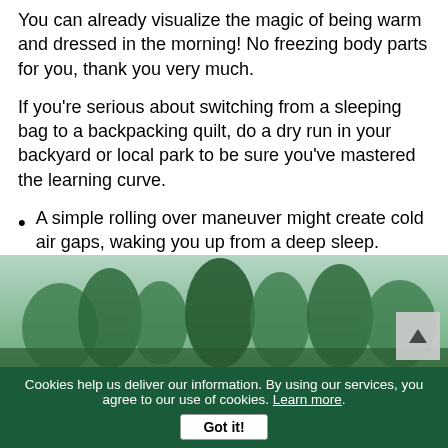You can already visualize the magic of being warm and dressed in the morning! No freezing body parts for you, thank you very much.
If you're serious about switching from a sleeping bag to a backpacking quilt, do a dry run in your backyard or local park to be sure you've mastered the learning curve.
A simple rolling over maneuver might create cold air gaps, waking you up from a deep sleep.
[Figure (photo): Outdoor nature background showing green trees and a natural landscape, partially visible behind content.]
Cookies help us deliver our information. By using our services, you agree to our use of cookies. Learn more. Got it!